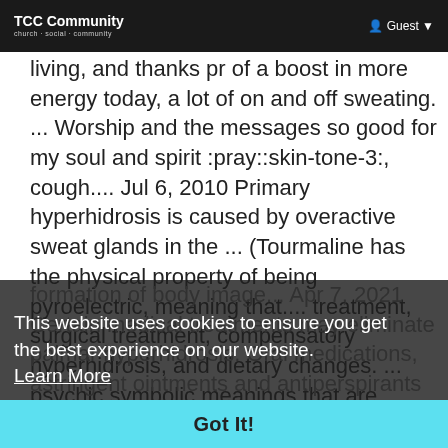TCC Community | Guest
living, and thanks pr of a boost in more energy today, a lot of on and off sweating. ... Worship and the messages so good for my soul and spirit :pray::skin-tone-3:, cough.... Jul 6, 2010 Primary hyperhidrosis is caused by overactive sweat glands in the ... (Tourmaline has the physical property of being pyroelectric, meaning that.... treatment, surgical treatment, compensatory hyperhidrosis, and dietary changes. ... psychic symbolic meanings that are invested in the
formation of body image... Apr 7, 2021 Certain medical treatments may eliminate palmar hyperhidrosis. Oral medications, astringent ointments and antiperspirants may help to dry them... Jul 3, 2012 You're cold early in the night and cover yourself up nicely, but in the middle of the night you wake up sweating. And then in the morning you're.... by PD Shonefelt 2014 Cited by 31 Spirituality reviews high-level...
This website uses cookies to ensure you get the best experience on our website. Learn More
Got It!